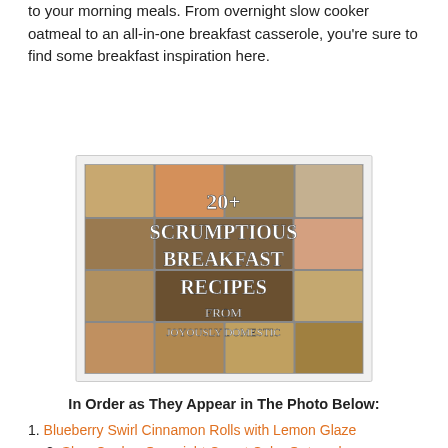to your morning meals. From overnight slow cooker oatmeal to an all-in-one breakfast casserole, you're sure to find some breakfast inspiration here.
[Figure (photo): Collage of 20+ scrumptious breakfast recipes from Joyously Domestic, showing various breakfast foods in a grid layout with overlaid text.]
In Order as They Appear in The Photo Below:
1. Blueberry Swirl Cinnamon Rolls with Lemon Glaze
2. Slow Cooker Overnight Carrot Cake Oatmeal
3. Chocolate Cream Cheese Monkey Bread
4. No-Bake Energy Bites